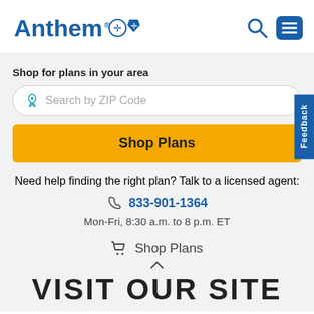[Figure (logo): Anthem Blue Cross Blue Shield logo with search and menu icons]
Shop for plans in your area
Search by ZIP Code
Shop Plans
Feedback
Need help finding the right plan? Talk to a licensed agent:
833-901-1364
Mon-Fri, 8:30 a.m. to 8 p.m. ET
Shop Plans
VISIT OUR SITE